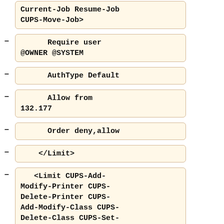Current-Job Resume-Job CUPS-Move-Job>
Require user @OWNER @SYSTEM
AuthType Default
Allow from 132.177
Order deny,allow
</Limit>
<Limit CUPS-Add-Modify-Printer CUPS-Delete-Printer CUPS-Add-Modify-Class CUPS-Delete-Class CUPS-Set-Default>
AuthType Default